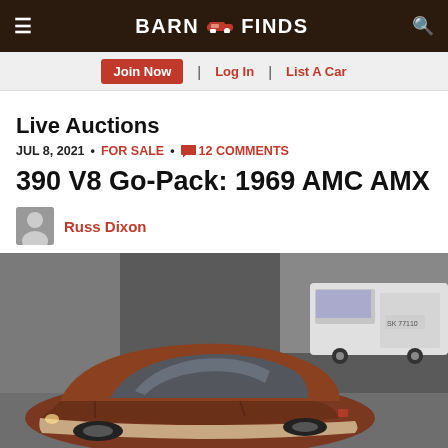BARN FINDS
Join Now | Log In | List A Car
Live Auctions
JUL 8, 2021 • FOR SALE • 12 COMMENTS
390 V8 Go-Pack: 1969 AMC AMX
Russ Dixon
[Figure (photo): 1969 AMC AMX in rust/brown color parked in a garage or parking structure, viewed from above-front angle. A white van is visible in the background.]